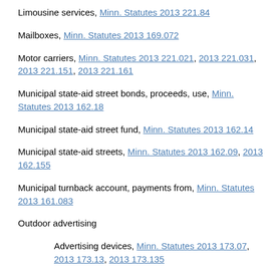Limousine services, Minn. Statutes 2013 221.84
Mailboxes, Minn. Statutes 2013 169.072
Motor carriers, Minn. Statutes 2013 221.021, 2013 221.031, 2013 221.151, 2013 221.161
Municipal state-aid street bonds, proceeds, use, Minn. Statutes 2013 162.18
Municipal state-aid street fund, Minn. Statutes 2013 162.14
Municipal state-aid streets, Minn. Statutes 2013 162.09, 2013 162.155
Municipal turnback account, payments from, Minn. Statutes 2013 161.083
Outdoor advertising
Advertising devices, Minn. Statutes 2013 173.07, 2013 173.13, 2013 173.135